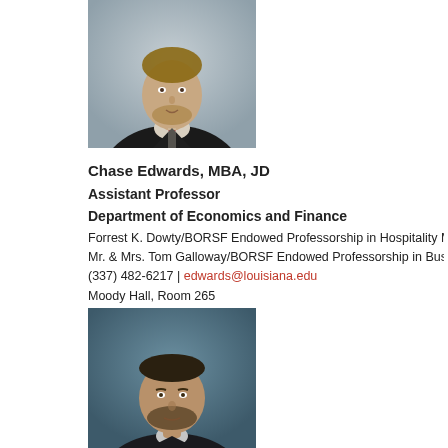[Figure (photo): Professional headshot of Chase Edwards, a man wearing a dark suit with a red tie, light striped shirt, with a grey background.]
Chase Edwards, MBA, JD
Assistant Professor
Department of Economics and Finance
Forrest K. Dowty/BORSF Endowed Professorship in Hospitality Mana...
Mr. & Mrs. Tom Galloway/BORSF Endowed Professorship in Business...
(337) 482-6217 | edwards@louisiana.edu
Moody Hall, Room 265
[Figure (photo): Professional headshot of a man wearing a dark suit, with a teal/dark background.]